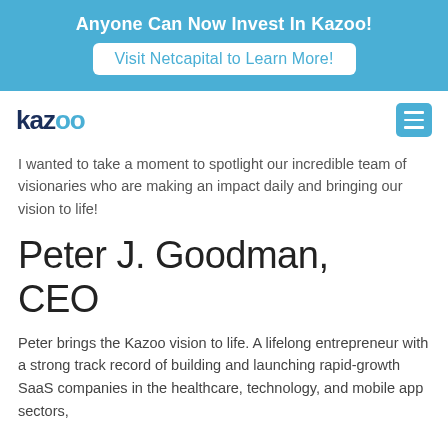Anyone Can Now Invest In Kazoo! Visit Netcapital to Learn More!
[Figure (logo): Kazoo logo with dark blue 'kaz' and cyan 'oo' text, hamburger menu icon on the right]
I wanted to take a moment to spotlight our incredible team of visionaries who are making an impact daily and bringing our vision to life!
Peter J. Goodman, CEO
Peter brings the Kazoo vision to life. A lifelong entrepreneur with a strong track record of building and launching rapid-growth SaaS companies in the healthcare, technology, and mobile app sectors,